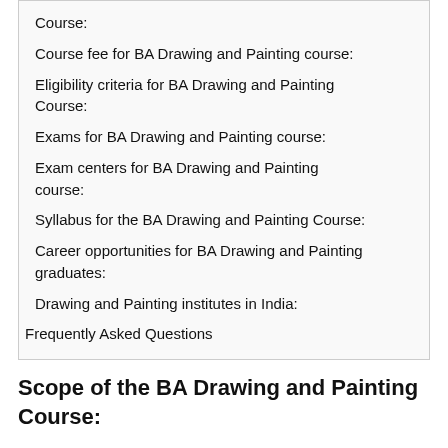Course:
Course fee for BA Drawing and Painting course:
Eligibility criteria for BA Drawing and Painting Course:
Exams for BA Drawing and Painting course:
Exam centers for BA Drawing and Painting course:
Syllabus for the BA Drawing and Painting Course:
Career opportunities for BA Drawing and Painting graduates:
Drawing and Painting institutes in India:
Frequently Asked Questions
Scope of the BA Drawing and Painting Course: